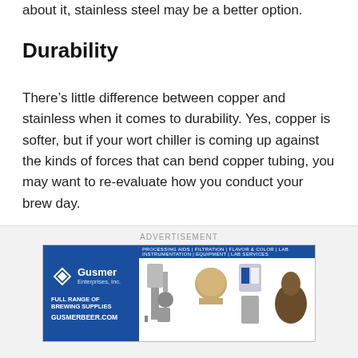about it, stainless steel may be a better option.
Durability
There’s little difference between copper and stainless when it comes to durability. Yes, copper is softer, but if your wort chiller is coming up against the kinds of forces that can bend copper tubing, you may want to re-evaluate how you conduct your brew day.
[Figure (photo): Gusmer Enterprises, Inc. advertisement banner showing brewing equipment and supplies with text FULL RANGE OF BREWING SUPPLIES and website GUSMERBEER.COM]